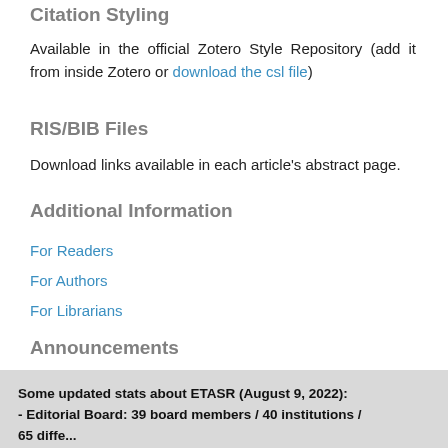Citation Styling
Available in the official Zotero Style Repository (add it from inside Zotero or download the csl file)
RIS/BIB Files
Download links available in each article's abstract page.
Additional Information
For Readers
For Authors
For Librarians
Announcements
See all our announcements here.
Some updated stats about ETASR (August 9, 2022): - Editorial Board: 39 board members / 40 institutions / 65 different countries